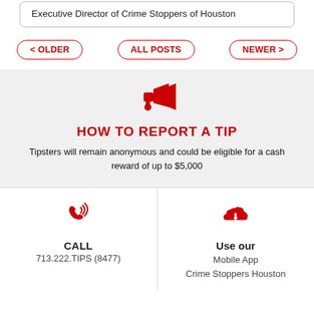Executive Director of Crime Stoppers of Houston
< OLDER
ALL POSTS
NEWER >
[Figure (illustration): Red megaphone/bullhorn icon]
HOW TO REPORT A TIP
Tipsters will remain anonymous and could be eligible for a cash reward of up to $5,000
[Figure (illustration): Red telephone/call icon with sound waves]
CALL
713.222.TIPS (8477)
[Figure (illustration): Red cloud with down arrow icon]
Use our
Mobile App
Crime Stoppers Houston